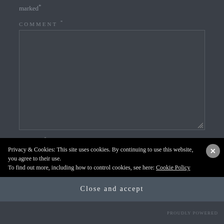marked *
COMMENT *
[Figure (screenshot): Empty comment textarea input field with resize handle at bottom-right corner]
NAME *
Privacy & Cookies: This site uses cookies. By continuing to use this website, you agree to their use.
To find out more, including how to control cookies, see here: Cookie Policy
Close and accept